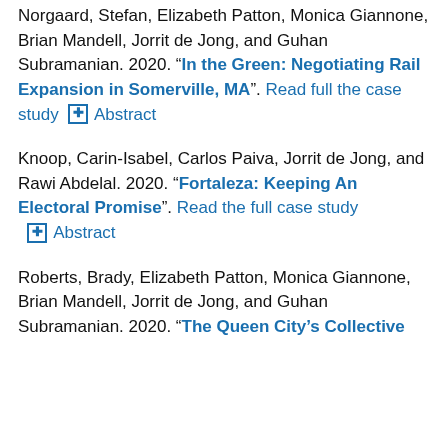Norgaard, Stefan, Elizabeth Patton, Monica Giannone, Brian Mandell, Jorrit de Jong, and Guhan Subramanian. 2020. “In the Green: Negotiating Rail Expansion in Somerville, MA”. Read full the case study ⊞ Abstract
Knoop, Carin-Isabel, Carlos Paiva, Jorrit de Jong, and Rawi Abdelal. 2020. “Fortaleza: Keeping An Electoral Promise”. Read the full case study ⊞ Abstract
Roberts, Brady, Elizabeth Patton, Monica Giannone, Brian Mandell, Jorrit de Jong, and Guhan Subramanian. 2020. “The Queen City’s Collective